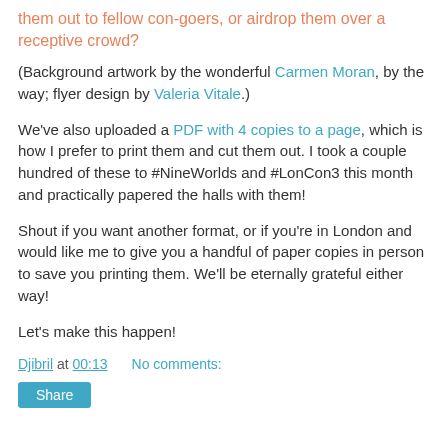them out to fellow con-goers, or airdrop them over a receptive crowd?
(Background artwork by the wonderful Carmen Moran, by the way; flyer design by Valeria Vitale.)
We've also uploaded a PDF with 4 copies to a page, which is how I prefer to print them and cut them out. I took a couple hundred of these to #NineWorlds and #LonCon3 this month and practically papered the halls with them!
Shout if you want another format, or if you're in London and would like me to give you a handful of paper copies in person to save you printing them. We'll be eternally grateful either way!
Let's make this happen!
Djibril at 00:13   No comments:
Share